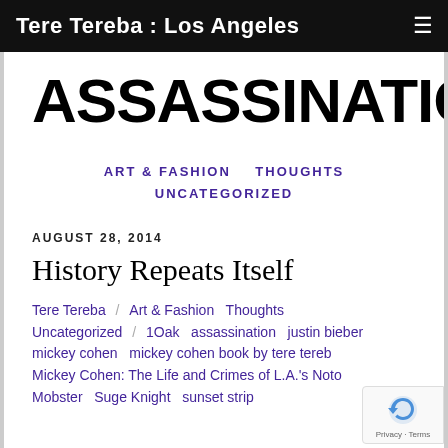Tere Tereba : Los Angeles
ASSASSINATION
ART & FASHION   THOUGHTS   UNCATEGORIZED
AUGUST 28, 2014
History Repeats Itself
Tere Tereba / Art & Fashion  Thoughts  Uncategorized / 1Oak  assassination  justin bieber  mickey cohen  mickey cohen book by tere tereba  Mickey Cohen: The Life and Crimes of L.A.'s Notorious Mobster  Suge Knight  sunset strip